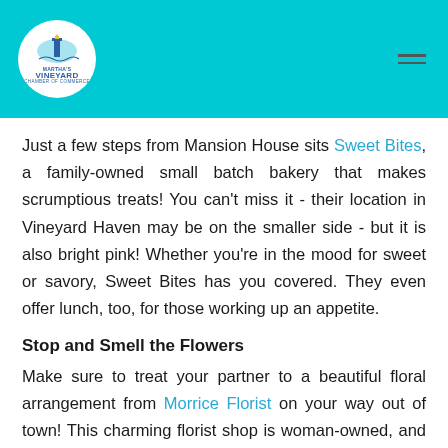Martha's Vineyard [logo with lighthouse]
Just a few steps from Mansion House sits Sweet Bites, a family-owned small batch bakery that makes scrumptious treats! You can't miss it - their location in Vineyard Haven may be on the smaller side - but it is also bright pink! Whether you're in the mood for sweet or savory, Sweet Bites has you covered. They even offer lunch, too, for those working up an appetite.
Stop and Smell the Flowers
Make sure to treat your partner to a beautiful floral arrangement from Morrice Florist on your way out of town! This charming florist shop is woman-owned, and their creations are absolutely stunning. Their store also